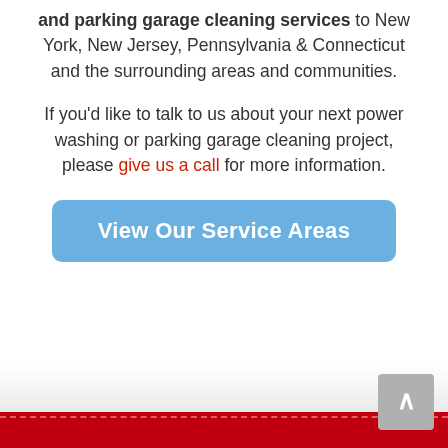and parking garage cleaning services to New York, New Jersey, Pennsylvania & Connecticut and the surrounding areas and communities.
If you'd like to talk to us about your next power washing or parking garage cleaning project, please give us a call for more information.
[Figure (other): Blue rounded button with white bold text 'View Our Service Areas']
Red footer bar with dashed line and scroll-to-top button